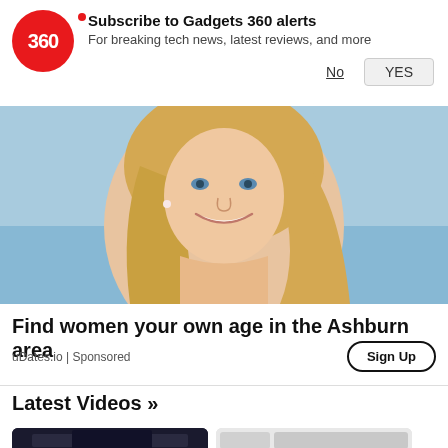[Figure (logo): Gadgets 360 logo - red circle with '360' text and red dot]
Subscribe to Gadgets 360 alerts
For breaking tech news, latest reviews, and more
No   YES
[Figure (photo): Smiling blonde woman against blue sky background - advertisement photo]
Find women your own age in the Ashburn area
uDates.io | Sponsored
Sign Up
Latest Videos »
[Figure (screenshot): Video thumbnail - dark scene]
[Figure (screenshot): Video thumbnail - light background]